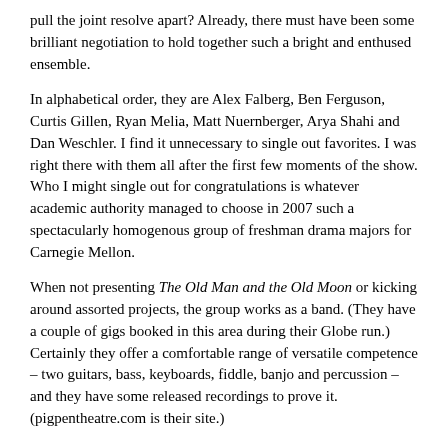pull the joint resolve apart? Already, there must have been some brilliant negotiation to hold together such a bright and enthused ensemble.
In alphabetical order, they are Alex Falberg, Ben Ferguson, Curtis Gillen, Ryan Melia, Matt Nuernberger, Arya Shahi and Dan Weschler. I find it unnecessary to single out favorites. I was right there with them all after the first few moments of the show. Who I might single out for congratulations is whatever academic authority managed to choose in 2007 such a spectacularly homogenous group of freshman drama majors for Carnegie Mellon.
When not presenting The Old Man and the Old Moon or kicking around assorted projects, the group works as a band. (They have a couple of gigs booked in this area during their Globe run.) Certainly they offer a comfortable range of versatile competence – two guitars, bass, keyboards, fiddle, banjo and percussion – and they have some released recordings to prove it. (pigpentheatre.com is their site.)
I, for one, look forward to further myths.
(Continues on the Old Globe Theatre Shiley Stage at 7 p.m. Tuesdays, Wednesdays and Sundays; at 8 p.m. Thursdays-Saturdays; and at 2 p.m. Saturdays and Sundays through June 18,2017.)